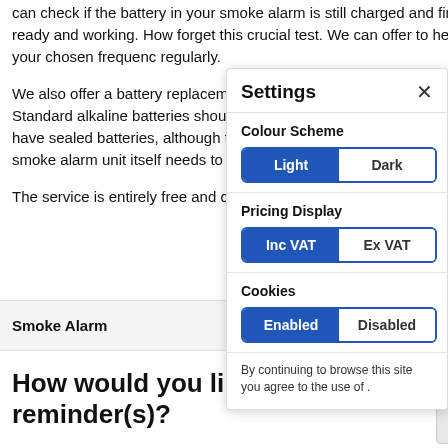can check if the battery in your smoke alarm is still charged and find out if your alarm is ready and working. How forget this crucial test. We can offer to help email or SMS, and at your chosen frequenc regularly.
We also offer a battery replacement remind be changed before the alarm starts to give Standard alkaline batteries should be chan batteries usually require replacement after have sealed batteries, although the battery alarm should still be tested regularly. Rega the smoke alarm unit itself needs to be rep we offer to send you a reminder after the 1
The service is entirely free and can be can
| Smoke Alarm |
How would you like to rece reminder(s)?
[Figure (screenshot): Settings panel overlay with Colour Scheme (Light/Dark toggle), Pricing Display (Inc VAT/Ex VAT toggle), and Cookies (Enabled/Disabled toggle) sections, plus a close button and cookies note.]